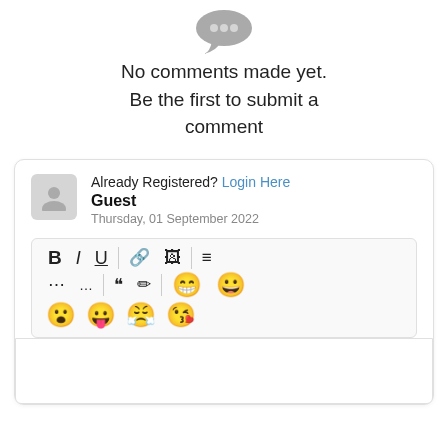[Figure (illustration): Gray speech bubble / comments icon]
No comments made yet. Be the first to submit a comment
Already Registered? Login Here
Guest
Thursday, 01 September 2022
[Figure (screenshot): Text editor toolbar with formatting buttons (B, I, U, link, image, list, numbered list, ellipsis, quote, eraser, emoji icons) and emoji row below]